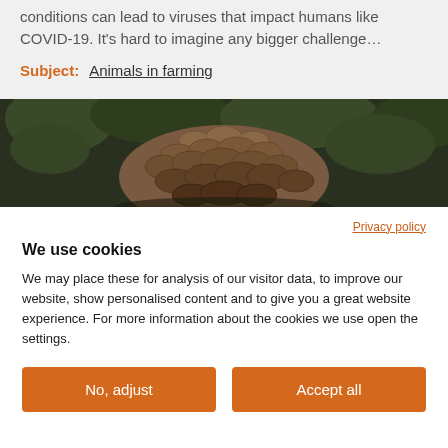conditions can lead to viruses that impact humans like COVID-19. It's hard to imagine any bigger challenge...
Subject: Animals in farming
[Figure (photo): Close-up photograph of a pangolin curled up, showing its distinctive brown overlapping scales, with green foliage in the background.]
Privacy policy
We use cookies
We may place these for analysis of our visitor data, to improve our website, show personalised content and to give you a great website experience. For more information about the cookies we use open the settings.
No, adjust
Accept all